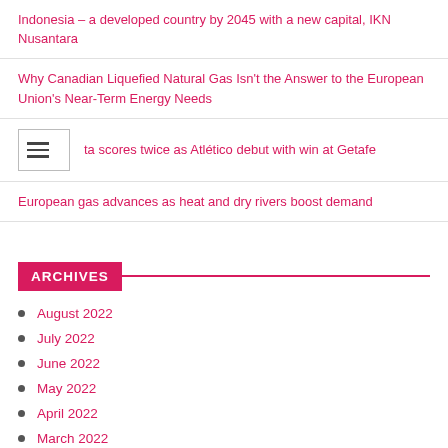Indonesia – a developed country by 2045 with a new capital, IKN Nusantara
Why Canadian Liquefied Natural Gas Isn't the Answer to the European Union's Near-Term Energy Needs
ta scores twice as Atlético debut with win at Getafe
European gas advances as heat and dry rivers boost demand
ARCHIVES
August 2022
July 2022
June 2022
May 2022
April 2022
March 2022
February 2022